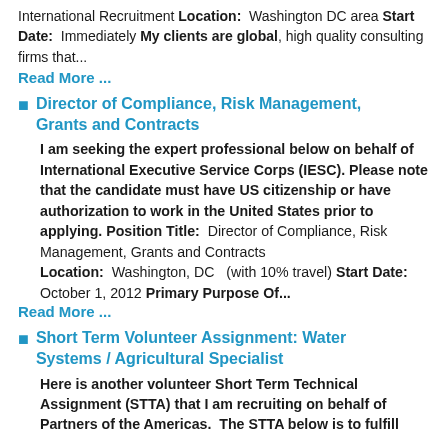International Recruitment Location: Washington DC area Start Date: Immediately My clients are global, high quality consulting firms that...
Read More ...
Director of Compliance, Risk Management, Grants and Contracts
I am seeking the expert professional below on behalf of International Executive Service Corps (IESC). Please note that the candidate must have US citizenship or have authorization to work in the United States prior to applying. Position Title: Director of Compliance, Risk Management, Grants and Contracts Location: Washington, DC (with 10% travel) Start Date: October 1, 2012 Primary Purpose Of...
Read More ...
Short Term Volunteer Assignment: Water Systems / Agricultural Specialist
Here is another volunteer Short Term Technical Assignment (STTA) that I am recruiting on behalf of Partners of the Americas. The STTA below is to fulfill